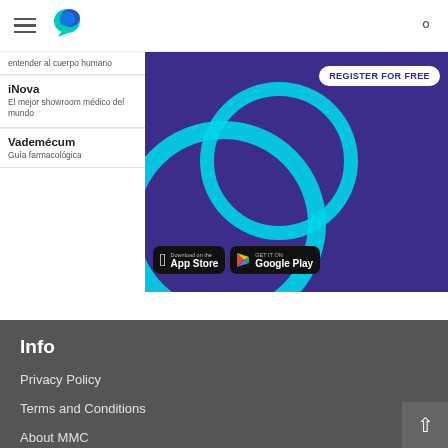MMC medical app header with hamburger menu, logo, and search icon
entender al cuerpo humano
iNova
El mejor showroom médico del mundo
Vademécum
Guía farmacológica
[Figure (screenshot): Promotional banner with purple background, cyan arc decorations, REGISTER FOR FREE button, App Store and Google Play download buttons]
Info
Privacy Policy
Terms and Conditions
About MMC